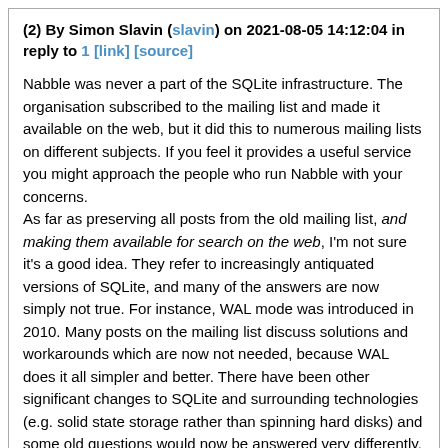(2) By Simon Slavin (slavin) on 2021-08-05 14:12:04 in reply to 1 [link] [source]
Nabble was never a part of the SQLite infrastructure. The organisation subscribed to the mailing list and made it available on the web, but it did this to numerous mailing lists on different subjects. If you feel it provides a useful service you might approach the people who run Nabble with your concerns.
As far as preserving all posts from the old mailing list, and making them available for search on the web, I'm not sure it's a good idea. They refer to increasingly antiquated versions of SQLite, and many of the answers are now simply not true. For instance, WAL mode was introduced in 2010. Many posts on the mailing list discuss solutions and workarounds which are now not needed, because WAL does it all simpler and better. There have been other significant changes to SQLite and surrounding technologies (e.g. solid state storage rather than spinning hard disks) and some old questions would now be answered very differently.